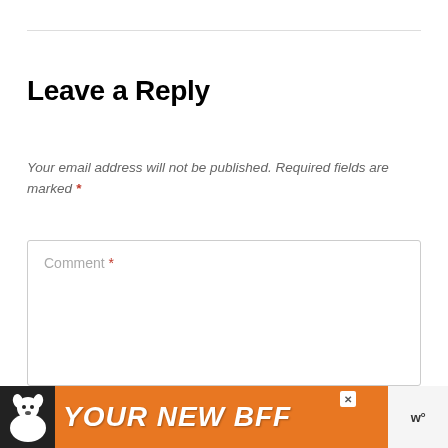Leave a Reply
Your email address will not be published. Required fields are marked *
Comment *
[Figure (infographic): Orange advertisement banner at bottom of page showing a dog silhouette on black background and bold italic text 'YOUR NEW BFF' with a close button and logo on the right]